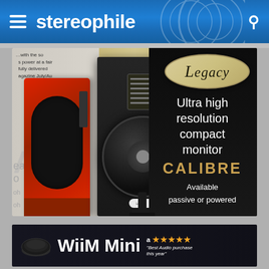stereophile
[Figure (photo): Legacy Calibre ultra high resolution compact monitor speaker advertisement. Shows a black bookshelf speaker (center) and red speaker (left) against a dark background. Right panel shows Legacy oval logo, text: 'Ultra high resolution compact monitor', 'CALIBRE', 'Available passive or powered'.]
[Figure (photo): WiiM Mini advertisement with device image, star rating 'a ★★★★★', quote 'Best Audio purchase this year', and product name 'WiiM Mini' in large white text on dark background.]